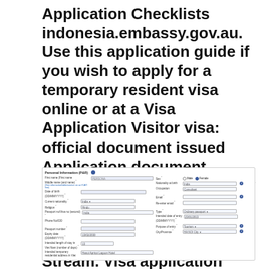Application Checklists indonesia.embassy.gov.au. Use this application guide if you wish to apply for a temporary resident visa online or at a Visa Application Visitor visa: official document issued Application document checklist If you cannot apply online, you can complete Form 1419 Application for a Visitor Tourist Visitor Stream. Visa application charge..
[Figure (screenshot): Screenshot of a visa application form showing Personal Information section with fields for name, date of birth, current nationality, religion, passport/visa number, address, phone, email, passport number, expiry date, intended length of stay, intended temporary address, sex (radio buttons Male/Female), nationality at birth, occupation, re-enter email, passport type, intended date of entry, purpose of entry, city/province.]